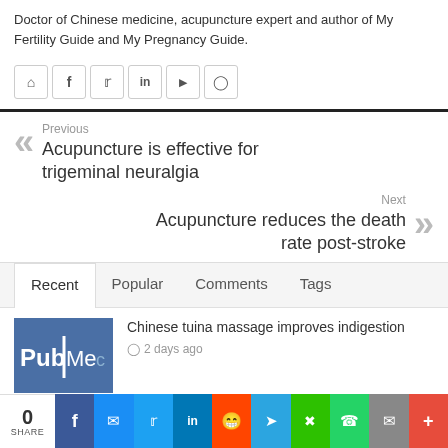Doctor of Chinese medicine, acupuncture expert and author of My Fertility Guide and My Pregnancy Guide.
[Figure (other): Social media icon buttons: home, facebook, twitter, linkedin, youtube, instagram]
Previous
Acupuncture is effective for trigeminal neuralgia
Next
Acupuncture reduces the death rate post-stroke
Recent   Popular   Comments   Tags
[Figure (photo): PubMed logo thumbnail image in blue]
Chinese tuina massage improves indigestion
2 days ago
Embedding acupuncture is effective for weight loss
[Figure (other): Share bar with 0 shares and social media share buttons: facebook, messenger, twitter, linkedin, reddit, telegram, wechat, whatsapp, email, plus]